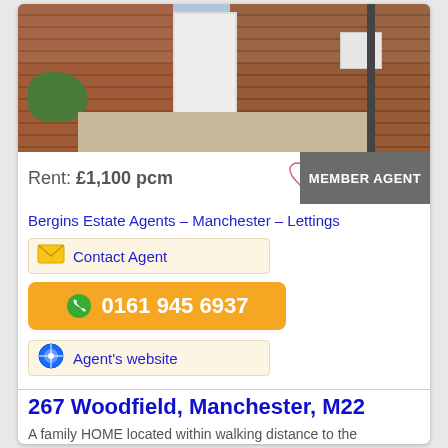[Figure (photo): Exterior photo of a brick house showing white door, brick walls, a path, shrubbery, and a drainpipe]
Rent: £1,100 pcm
MEMBER AGENT
Bergins Estate Agents – Manchester – Lettings
Contact Agent
0161 945 6937
Agent's website
267 Woodfield, Manchester, M22
A family HOME located within walking distance to the Civic Centre with all its amenities. Comprising AIRY